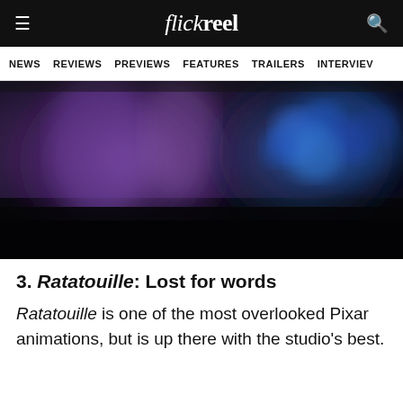flickreel — NEWS | REVIEWS | PREVIEWS | FEATURES | TRAILERS | INTERVIEV
[Figure (photo): Dark cinematic still from Ratatouille animation showing blurred purple and blue mushroom-like shapes against a dark background]
3. Ratatouille: Lost for words
Ratatouille is one of the most overlooked Pixar animations, but is up there with the studio's best.